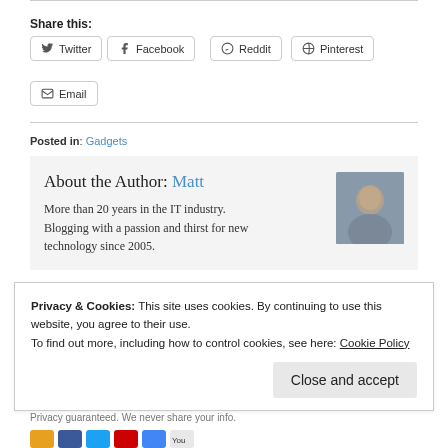Share this:
Twitter
Facebook
Reddit
Pinterest
Email
Posted in: Gadgets
About the Author: Matt
More than 20 years in the IT industry. Blogging with a passion and thirst for new technology since 2005.
Privacy & Cookies: This site uses cookies. By continuing to use this website, you agree to their use.
To find out more, including how to control cookies, see here: Cookie Policy
Close and accept
Privacy guaranteed. We never share your info.